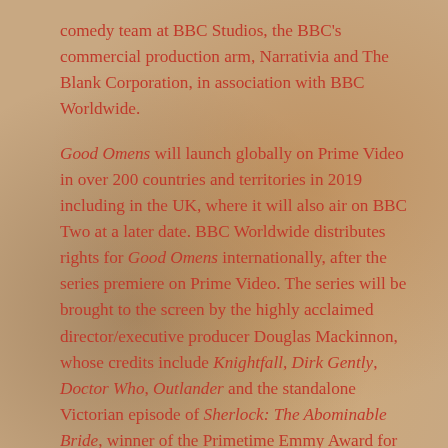comedy team at BBC Studios, the BBC's commercial production arm, Narrativia and The Blank Corporation, in association with BBC Worldwide.
Good Omens will launch globally on Prime Video in over 200 countries and territories in 2019 including in the UK, where it will also air on BBC Two at a later date. BBC Worldwide distributes rights for Good Omens internationally, after the series premiere on Prime Video. The series will be brought to the screen by the highly acclaimed director/executive producer Douglas Mackinnon, whose credits include Knightfall, Dirk Gently, Doctor Who, Outlander and the standalone Victorian episode of Sherlock: The Abominable Bride, winner of the Primetime Emmy Award for Outstanding Television Movie last year.